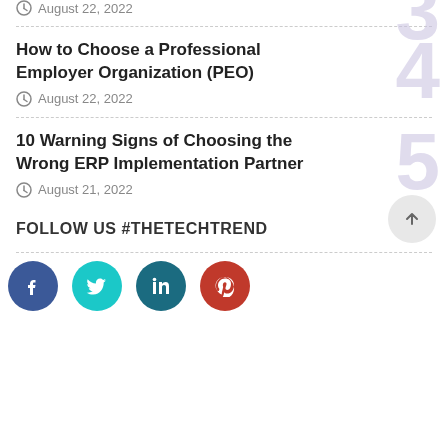August 22, 2022
How to Choose a Professional Employer Organization (PEO)
August 22, 2022
10 Warning Signs of Choosing the Wrong ERP Implementation Partner
August 21, 2022
FOLLOW US #THETECHTREND
[Figure (illustration): Social media buttons: Facebook (dark blue), Twitter (teal), LinkedIn (dark teal), Pinterest (red), and a back-to-top arrow button]